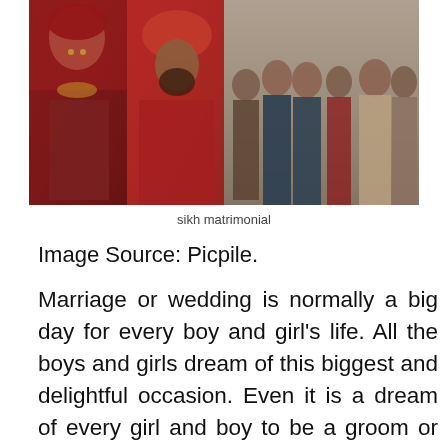[Figure (photo): Sikh matrimonial wedding photos: left side shows bride in red and gold bridal attire with jewelry; center shows groom with red turban; right side shows group of people in traditional South Asian wedding attire.]
sikh matrimonial
Image Source: Picpile.
Marriage or wedding is normally a big day for every boy and girl’s life. All the boys and girls dream of this biggest and delightful occasion. Even it is a dream of every girl and boy to be a groom or bride once in life and experience the most amazing feeling of it. For that, they look for the perfect match with the help of some matrimonial websites and marriage bureaus as